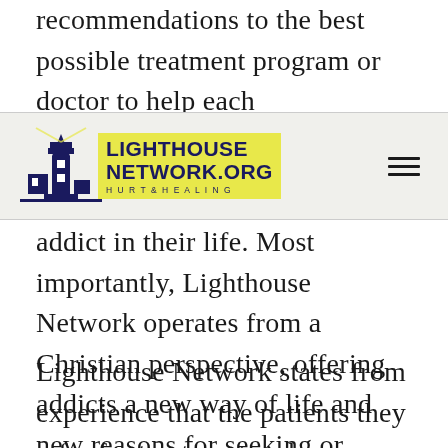recommendations to the best possible treatment program or doctor to help each
[Figure (logo): Lighthouse Network logo with lighthouse icon and text LIGHTHOUSE NETWORK.ORG HURT to HEALING]
addict in their life. Most importantly, Lighthouse Network operates from a Christian perspective, offering addicts a new way of life and new reasons for seeking or remaining in treatment.
Lighthouse Network states from experience that the patients they refer for treatment embrace a Christian element in their healing and often achieve sobriety and freedom from addiction when they previously has resigned themselves to thinking that they would live as